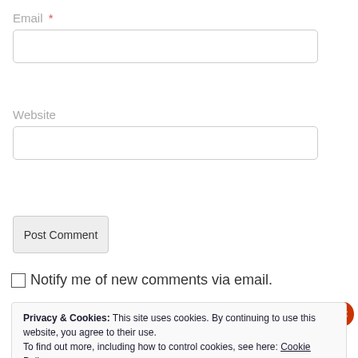Email *
Website
Post Comment
Notify me of new comments via email.
Privacy & Cookies: This site uses cookies. By continuing to use this website, you agree to their use. To find out more, including how to control cookies, see here: Cookie Policy
Close and accept